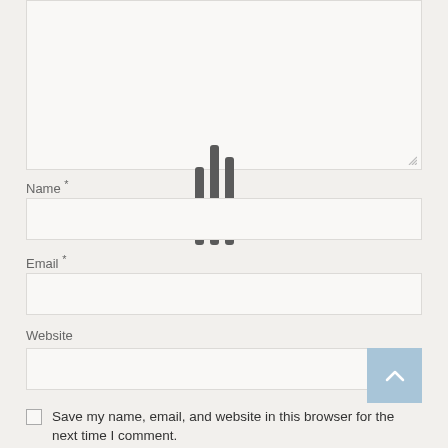[Figure (screenshot): Comment form section showing a text area (partially visible at top), then Name, Email, and Website input fields with labels, a blue scroll-to-top button, and a save-my-name checkbox at the bottom. Loading bars (three vertical grey bars) are overlaid in the center of the form.]
Name *
Email *
Website
Save my name, email, and website in this browser for the next time I comment.